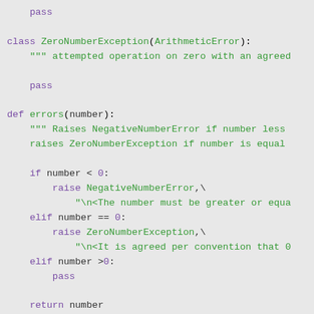[Figure (screenshot): Python source code snippet showing a class ZeroNumberException inheriting from ArithmeticError, and a function errors(number) with conditional raises for negative and zero numbers, using monospace font on a light gray background.]